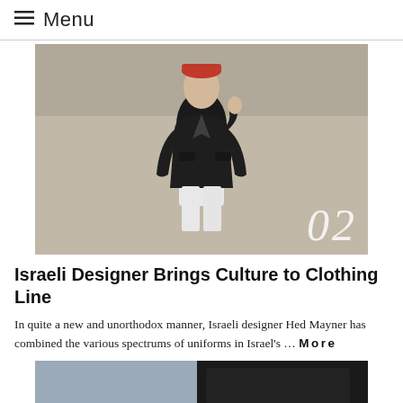Menu
[Figure (photo): Fashion photo of a person wearing a black jacket over a white outfit, with a red hat, standing outdoors. Number '02' overlaid in white italic text at bottom right.]
Israeli Designer Brings Culture to Clothing Line
In quite a new and unorthodox manner, Israeli designer Hed Mayner has combined the various spectrums of uniforms in Israel's … More
[Figure (photo): Partial view of a fashion photo showing clothing detail, cropped at bottom of page.]